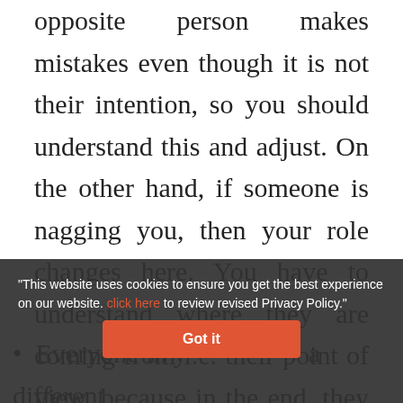opposite person makes mistakes even though it is not their intention, so you should understand this and adjust. On the other hand, if someone is nagging you, then your role changes here. You have to understand where they are coming from i.e. their point of view, because in the end, they are advising you for your own benefit. If you are able to understand your role in both situations then it is only your own benefit.
Everyone in y... a different personality and lifestyle, but in the end
"This website uses cookies to ensure you get the best experience on our website. click here to review revised Privacy Policy."